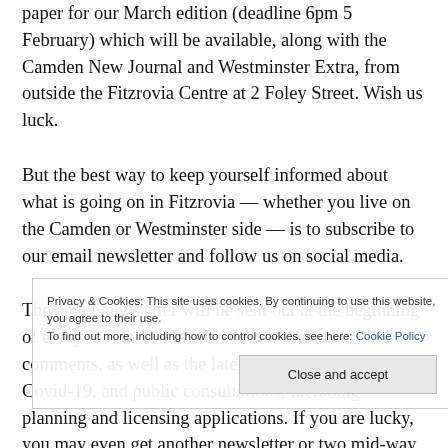paper for our March edition (deadline 6pm 5 February) which will be available, along with the Camden New Journal and Westminster Extra, from outside the Fitzrovia Centre at 2 Foley Street. Wish us luck.
But the best way to keep yourself informed about what is going on in Fitzrovia — whether you live on the Camden or Westminster side — is to subscribe to our email newsletter and follow us on social media.
The email newsletter will be sent out at the beginning of every month with the latest news, features, and comments, as well as the latest public information on Covid-19, and public consultations, including planning and licensing applications. If you are lucky, you may even get another newsletter or two mid-way through
Privacy & Cookies: This site uses cookies. By continuing to use this website, you agree to their use.
To find out more, including how to control cookies, see here: Cookie Policy
Close and accept